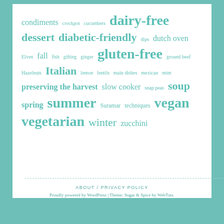condiments crockpot cucumbers dairy-free dessert diabetic-friendly dips dutch oven Elven fall fish gifting ginger gluten-free ground beef Hazelnuts Italian lemon lentils main dishes mexican mint preserving the harvest slow cooker snap peas soup spring summer Suramar techniques vegan vegetarian winter zucchini
ABOUT / PRIVACY POLICY
Proudly powered by WordPress | Theme: Sugar & Spice by WebTuts.